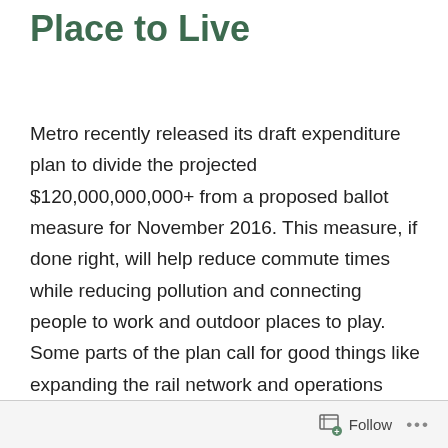Place to Live
Metro recently released its draft expenditure plan to divide the projected $120,000,000,000+ from a proposed ballot measure for November 2016. This measure, if done right, will help reduce commute times while reducing pollution and connecting people to work and outdoor places to play. Some parts of the plan call for good things like expanding the rail network and operations money to keep public transit affordable.
Follow ...